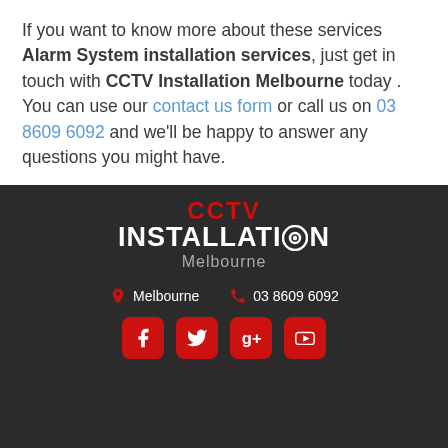If you want to know more about these services Alarm System installation services, just get in touch with CCTV Installation Melbourne today . You can use our contact us form or call us on 03 8609 6092 and we'll be happy to answer any questions you might have.
[Figure (logo): CCTV Installation Melbourne logo on dark background, with red CCTV text, white INSTALLATION text with eye symbol, and grey Melbourne text below]
Melbourne   03 8609 6092
[Figure (illustration): Social media icons row: Facebook, Twitter, Google+, YouTube — all red rounded square buttons]
SERVICES
CCTV Cameras